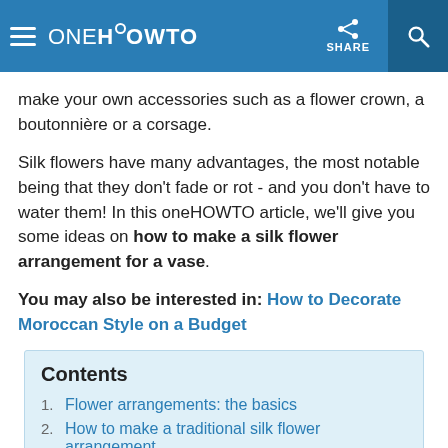oneHOWTO
make your own accessories such as a flower crown, a boutonnière or a corsage.
Silk flowers have many advantages, the most notable being that they don't fade or rot - and you don't have to water them! In this oneHOWTO article, we'll give you some ideas on how to make a silk flower arrangement for a vase.
You may also be interested in: How to Decorate Moroccan Style on a Budget
Contents
1. Flower arrangements: the basics
2. How to make a traditional silk flower arrangement
3. How to make a creative silk flo...